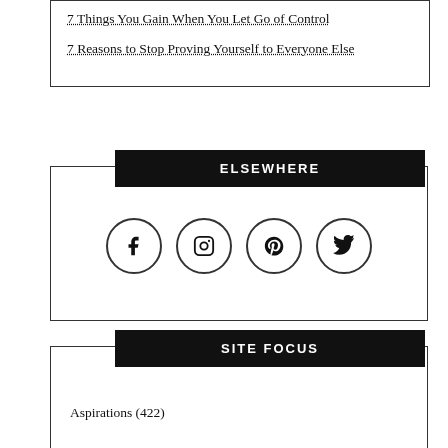7 Things You Gain When You Let Go of Control
7 Reasons to Stop Proving Yourself to Everyone Else
ELSEWHERE
[Figure (other): Four social media icon circles: Facebook, Instagram, Pinterest, Twitter]
SITE FOCUS
Aspirations (422)